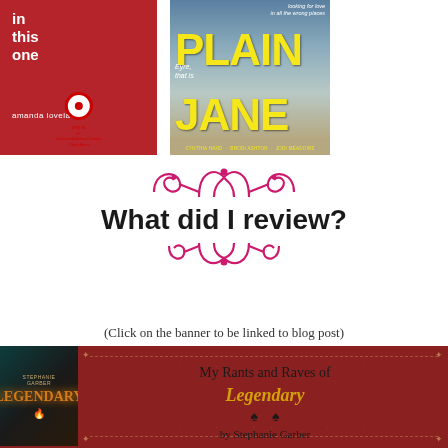[Figure (illustration): Two book covers side by side at top. Left: red cover with white text 'in this one' and 'amanda lovelace', with Target logo at bottom. Right: 'Plain Jane' anthology cover with yellow text on blue/tan background, featuring a face and authors 'Cynthia Hand, Brodi Ashton, Jodi Meadows'.]
What did I review?
(Click on the banner to be linked to blog post)
[Figure (illustration): Dark red banner showing book cover of 'Legendary' by Stephanie Garber on left, with text 'My Rants and Raves of Legendary by Stephanie Garber' on the right side of the banner.]